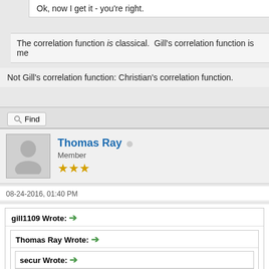Ok, now I get it - you're right.
The correlation function is classical.  Gill's correlation function is me
Not Gill's correlation function: Christian's correlation function.
Find
Thomas Ray  Member ★★★
08-24-2016, 01:40 PM
gill1109 Wrote:
Thomas Ray Wrote:
secur Wrote: